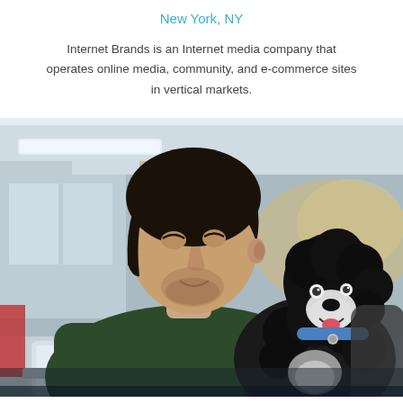New York, NY
Internet Brands is an Internet media company that operates online media, community, and e-commerce sites in vertical markets.
[Figure (photo): A young man with dark hair wearing a dark green sweater sits on a couch with a laptop, looking at a black and white dog (a poodle mix) that is looking up at him. The setting appears to be a modern office or casual workspace with blurred background.]